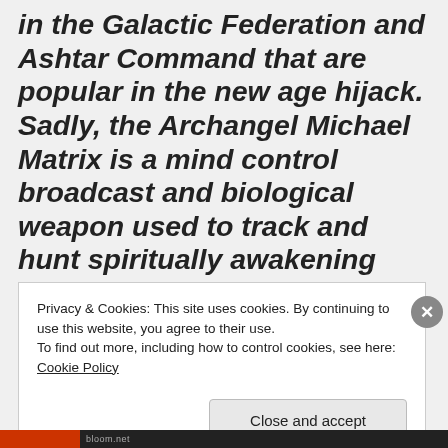in the Galactic Federation and Ashtar Command that are popular in the new age hijack. Sadly, the Archangel Michael Matrix is a mind control broadcast and biological weapon used to track and hunt spiritually awakening Indigos, which is designed to transmit artificial frequencies that reverse the fire
Privacy & Cookies: This site uses cookies. By continuing to use this website, you agree to their use.
To find out more, including how to control cookies, see here: Cookie Policy
Close and accept